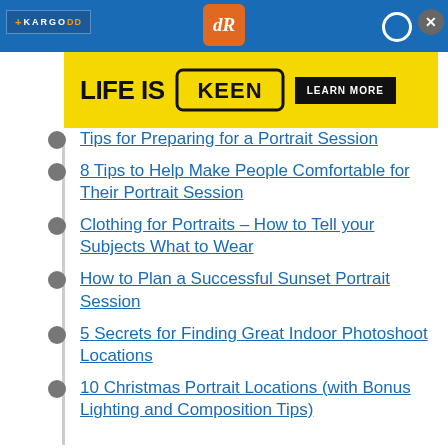[Figure (screenshot): Website header with blue navigation bar, Kargo logo, digital Review (dR) orange logo, search icon, and close button]
[Figure (screenshot): Advertisement banner: yellow background with 'LIFE IS KEEN' text and 'LEARN MORE' button]
Tips for Preparing for a Portrait Session
8 Tips to Help Make People Comfortable for Their Portrait Session
Clothing for Portraits – How to Tell your Subjects What to Wear
How to Plan a Successful Sunset Portrait Session
5 Secrets for Finding Great Indoor Photoshoot Locations
10 Christmas Portrait Locations (with Bonus Lighting and Composition Tips)